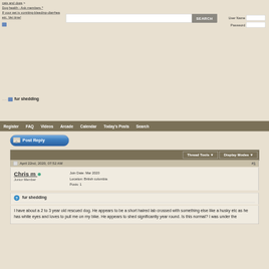cats and dogs > Dog health - Ask members * If your pet is vomiting-bleeding-diarrhea etc. Vet time!
fur shedding
Register | FAQ | Videos | Arcade | Calendar | Today's Posts | Search
[Figure (screenshot): Post Reply button - blue pill-shaped button with icon]
Thread Tools ▼   Display Modes ▼
April 22nd, 2020, 07:52 AM  #1
Chris m  Junior Member  Join Date: Mar 2020  Location: British columbia  Posts: 1
fur shedding
I have about a 2 to 3 year old rescued dog. He appears to be a short haired lab crossed with something else like a husky etc as he has white eyes and loves to pull me on my bike. He appears to shed significantly year round. Is this normal? I was under the